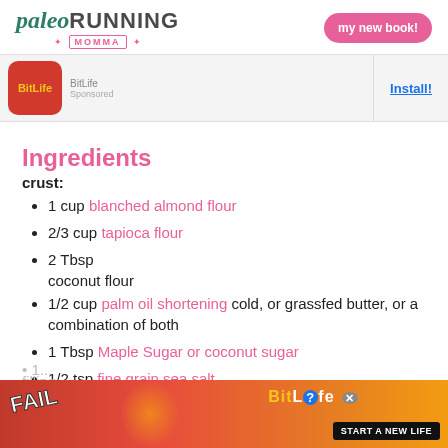paleo RUNNING MOMMA | my new book!
[Figure (screenshot): BitLife app advertisement banner with icon and Install! link]
Ingredients
crust:
1 cup blanched almond flour
2/3 cup tapioca flour
2 Tbsp coconut flour
1/2 cup palm oil shortening cold, or grassfed butter, or a combination of both
1 Tbsp Maple Sugar or coconut sugar
1/2 tsp fine grain sea salt
1... filling
[Figure (screenshot): BitLife advertisement banner at bottom with FAIL text and START A NEW LIFE button]